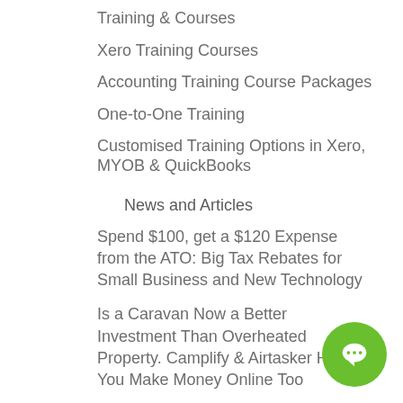Training & Courses
Xero Training Courses
Accounting Training Course Packages
One-to-One Training
Customised Training Options in Xero, MYOB & QuickBooks
News and Articles
Spend $100, get a $120 Expense from the ATO: Big Tax Rebates for Small Business and New Technology
Is a Caravan Now a Better Investment Than Overheated Property. Camplify & Airtasker Help You Make Money Online Too